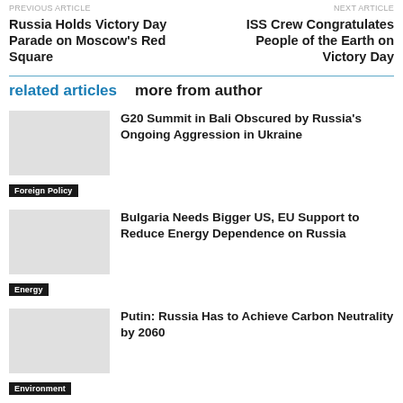Previous Article
Next Article
Russia Holds Victory Day Parade on Moscow's Red Square
ISS Crew Congratulates People of the Earth on Victory Day
related articles   more from author
G20 Summit in Bali Obscured by Russia's Ongoing Aggression in Ukraine
Foreign Policy
Bulgaria Needs Bigger US, EU Support to Reduce Energy Dependence on Russia
Energy
Putin: Russia Has to Achieve Carbon Neutrality by 2060
Environment